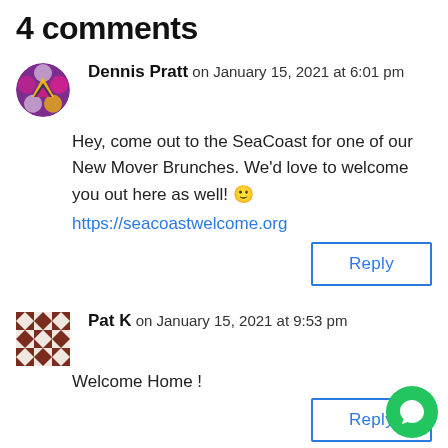4 comments
Dennis Pratt on January 15, 2021 at 6:01 pm
Hey, come out to the SeaCoast for one of our New Mover Brunches. We'd love to welcome you out here as well! 🙂
https://seacoastwelcome.org
Reply
Pat K on January 15, 2021 at 9:53 pm
Welcome Home !
Reply